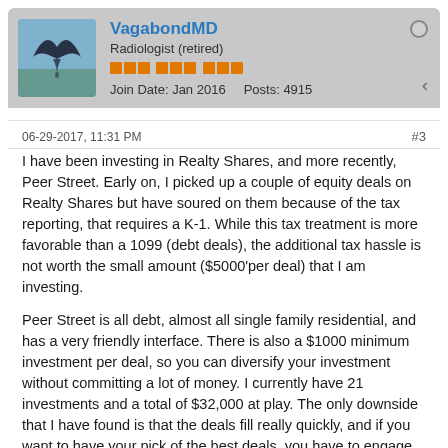[Figure (photo): User avatar showing a bird figure against a blue sky background]
VagabondMD
Radiologist (retired)
Join Date: Jan 2016  Posts: 4915
06-29-2017, 11:31 PM  #3
I have been investing in Realty Shares, and more recently, Peer Street. Early on, I picked up a couple of equity deals on Realty Shares but have soured on them because of the tax reporting, that requires a K-1. While this tax treatment is more favorable than a 1099 (debt deals), the additional tax hassle is not worth the small amount ($5000'per deal) that I am investing.

Peer Street is all debt, almost all single family residential, and has a very friendly interface. There is also a $1000 minimum investment per deal, so you can diversify your investment without committing a lot of money. I currently have 21 investments and a total of $32,000 at play. The only downside that I have found is that the deals fill really quickly, and if you want to have your pick of the best deals, you have to engage the autoinvest feature. I am hesitant to do so but might in the future.